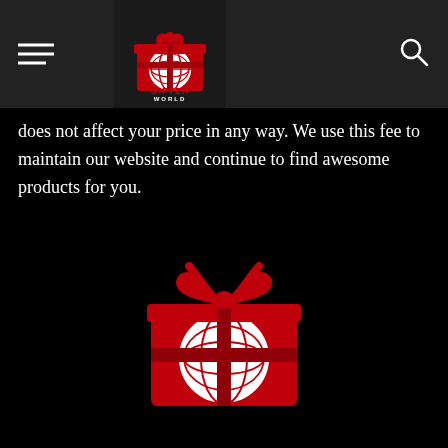[Figure (logo): Gifter World navigation bar logo — small version in dark header bar]
does not affect your price in any way. We use this fee to maintain our website and continue to find awesome products for you.
[Figure (logo): Gifter World large logo — red gift box with globe inside and red bow on top, text GIFTER WORLD below in red and white on black background]